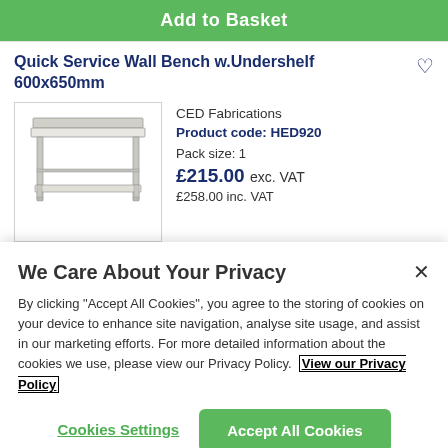Add to Basket
Quick Service Wall Bench w.Undershelf 600x650mm
[Figure (photo): Photo of a stainless steel wall bench with undershelf, 600x650mm]
CED Fabrications
Product code: HED920
Pack size: 1
£215.00 exc. VAT
£258.00 inc. VAT
We Care About Your Privacy
By clicking "Accept All Cookies", you agree to the storing of cookies on your device to enhance site navigation, analyse site usage, and assist in our marketing efforts. For more detailed information about the cookies we use, please view our Privacy Policy.
View our Privacy Policy
Cookies Settings
Accept All Cookies